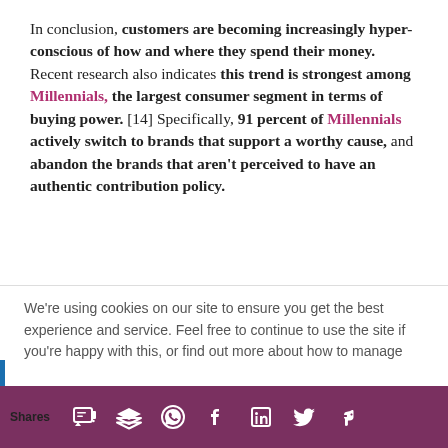In conclusion, customers are becoming increasingly hyper-conscious of how and where they spend their money. Recent research also indicates this trend is strongest among Millennials, the largest consumer segment in terms of buying power. [14] Specifically, 91 percent of Millennials actively switch to brands that support a worthy cause, and abandon the brands that aren't perceived to have an authentic contribution policy.
We're using cookies on our site to ensure you get the best experience and service. Feel free to continue to use the site if you're happy with this, or find out more about how to manage
Shares